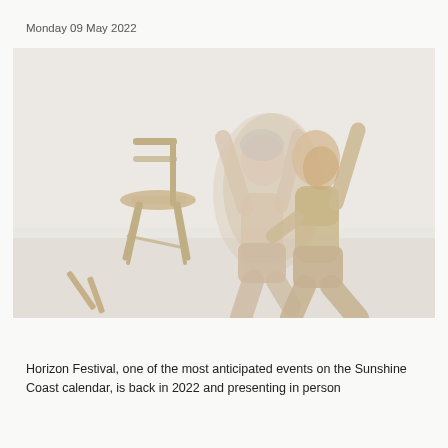Monday 09 May 2022
[Figure (photo): Two dancers in beige/nude athletic wear dancing together in a white studio space. One dancer has short blonde hair, both have arms raised. A wooden stool/chair is visible on the left side of the frame. Motion blur effect on the figures.]
Horizon Festival, one of the most anticipated events on the Sunshine Coast calendar, is back in 2022 and presenting in person